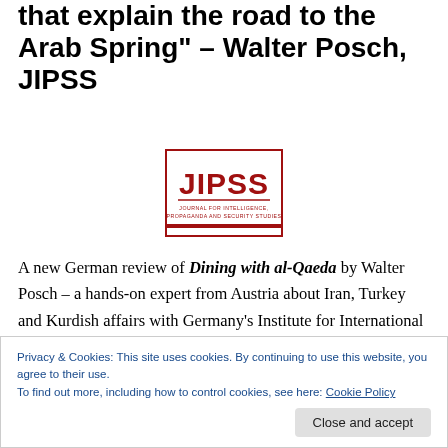that explain the road to the Arab Spring" – Walter Posch, JIPSS
[Figure (logo): JIPSS logo — red text reading 'JIPSS' with subtitle 'JOURNAL FOR INTELLIGENCE, PROPAGANDA AND SECURITY STUDIES' and a red rectangular border]
A new German review of Dining with al-Qaeda by Walter Posch – a hands-on expert from Austria about Iran, Turkey and Kurdish affairs with Germany's Institute for International and Security Affairs (SWP) – warmed my
Privacy & Cookies: This site uses cookies. By continuing to use this website, you agree to their use.
To find out more, including how to control cookies, see here: Cookie Policy